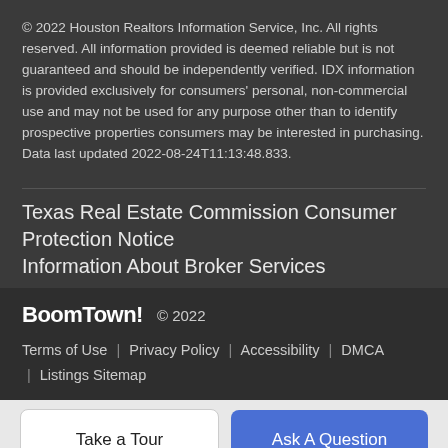© 2022 Houston Realtors Information Service, Inc. All rights reserved. All information provided is deemed reliable but is not guaranteed and should be independently verified. IDX information is provided exclusively for consumers' personal, non-commercial use and may not be used for any purpose other than to identify prospective properties consumers may be interested in purchasing. Data last updated 2022-08-24T11:13:48.833.
Texas Real Estate Commission Consumer Protection Notice
Information About Broker Services
BoomTown!  © 2022
Terms of Use  |  Privacy Policy  |  Accessibility  |  DMCA  |  Listings Sitemap
Take a Tour
Ask A Question